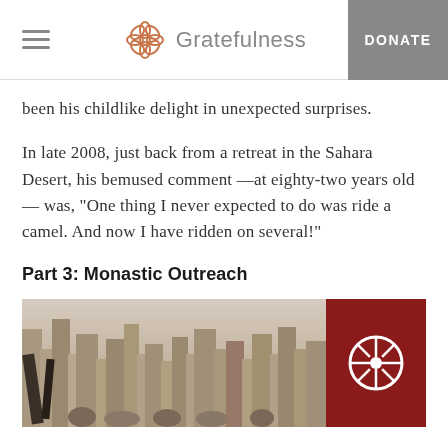Gratefulness | DONATE
been his childlike delight in unexpected surprises.
In late 2008, just back from a retreat in the Sahara Desert, his bemused comment —at eighty-two years old — was, "One thing I never expected to do was ride a camel. And now I have ridden on several!"
Part 3: Monastic Outreach
[Figure (photo): Photograph of people in an outdoor urban setting, with city buildings in the background and a red banner/flag with a white symbol on the right side.]